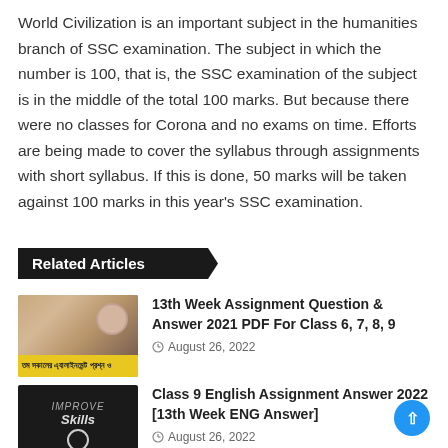World Civilization is an important subject in the humanities branch of SSC examination. The subject in which the number is 100, that is, the SSC examination of the subject is in the middle of the total 100 marks. But because there were no classes for Corona and no exams on time. Efforts are being made to cover the syllabus through assignments with short syllabus. If this is done, 50 marks will be taken against 100 marks in this year's SSC examination.
Related Articles
[Figure (photo): Thumbnail image of a person writing/using phone at a desk, with yellow Bengali text banner at bottom]
13th Week Assignment Question & Answer 2021 PDF For Class 6, 7, 8, 9
August 26, 2022
[Figure (photo): Black thumbnail with 'IMPROVE Skills' text logo, captioned 'Class 9 English Assignment Answ...']
Class 9 English Assignment Answer 2022 [13th Week ENG Answer]
August 26, 2022